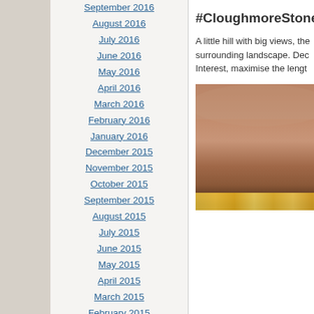September 2016
August 2016
July 2016
June 2016
May 2016
April 2016
March 2016
February 2016
January 2016
December 2015
November 2015
October 2015
September 2015
August 2015
July 2015
June 2015
May 2015
April 2015
March 2015
February 2015
January 2015
December 2014
November 2014
#CloughmoreStone
A little hill with big views, the surrounding landscape. Dec Interest, maximise the lengt
[Figure (photo): A landscape/cityscape photo showing a hazy sky with warm orange-brown tones and city lights visible at the bottom of the image, likely taken from Cloughmore Stone viewpoint at dusk or night.]